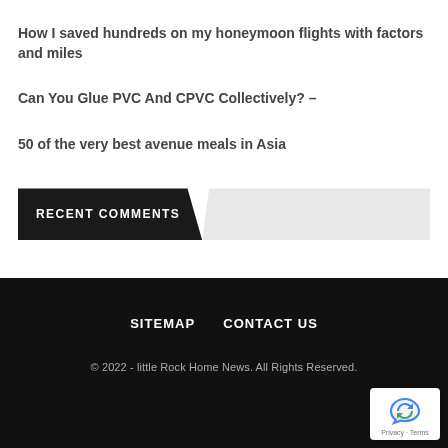How I saved hundreds on my honeymoon flights with factors and miles
Can You Glue PVC And CPVC Collectively? –
50 of the very best avenue meals in Asia
RECENT COMMENTS
SITEMAP   CONTACT US
© 2022 - little Rock Home News. All Rights Reserved.